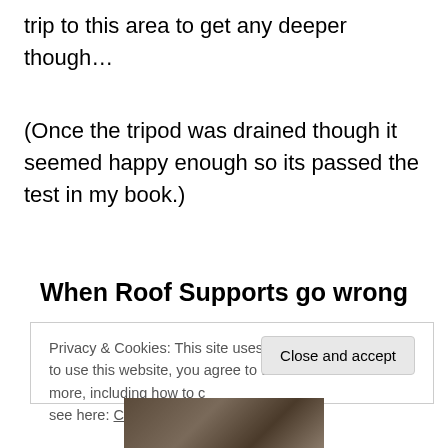trip to this area to get any deeper though…
(Once the tripod was drained though it seemed happy enough so its passed the test in my book.)
When Roof Supports go wrong
Privacy & Cookies: This site uses cookies. By continuing to use this website, you agree to their use. To find out more, including how to control cookies, see here: Cookie Policy
[Figure (photo): Partial view of a photo at the bottom of the page showing what appears to be wooden roof supports or mining timbers]